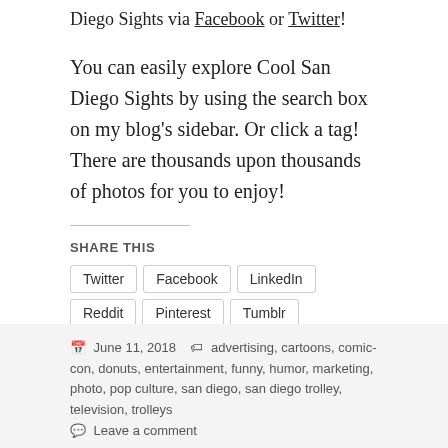Diego Sights via Facebook or Twitter!
You can easily explore Cool San Diego Sights by using the search box on my blog’s sidebar. Or click a tag! There are thousands upon thousands of photos for you to enjoy!
SHARE THIS
Twitter
Facebook
LinkedIn
Reddit
Pinterest
Tumblr
Pocket
Email
Telegram
WhatsApp
Skype
Loading...
June 11, 2018   advertising, cartoons, comic-con, donuts, entertainment, funny, humor, marketing, photo, pop culture, san diego, san diego trolley, television, trolleys
Leave a comment